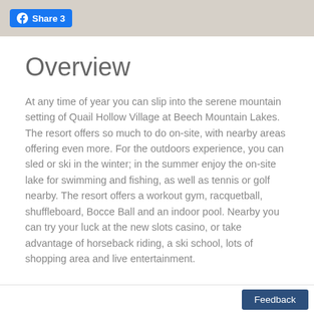Share 3
Overview
At any time of year you can slip into the serene mountain setting of Quail Hollow Village at Beech Mountain Lakes. The resort offers so much to do on-site, with nearby areas offering even more. For the outdoors experience, you can sled or ski in the winter; in the summer enjoy the on-site lake for swimming and fishing, as well as tennis or golf nearby. The resort offers a workout gym, racquetball, shuffleboard, Bocce Ball and an indoor pool. Nearby you can try your luck at the new slots casino, or take advantage of horseback riding, a ski school, lots of shopping area and live entertainment.
Feedback